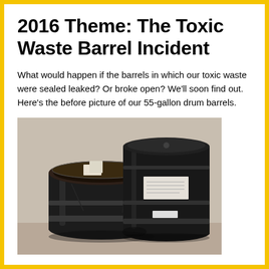2016 Theme: The Toxic Waste Barrel Incident
What would happen if the barrels in which our toxic waste were sealed leaked? Or broke open? We'll soon find out. Here's the before picture of our 55-gallon drum barrels.
[Figure (photo): Two large black 55-gallon drum barrels sitting on a concrete floor. The left barrel is open-top and shorter, with white labels/stickers on the lid. The right barrel is taller and closed, with a white label on its side. Both barrels are dark/black colored and show signs of use.]